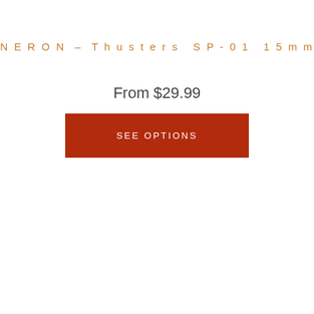NERON – Thusters SP-01 15mm
From $29.99
SEE OPTIONS